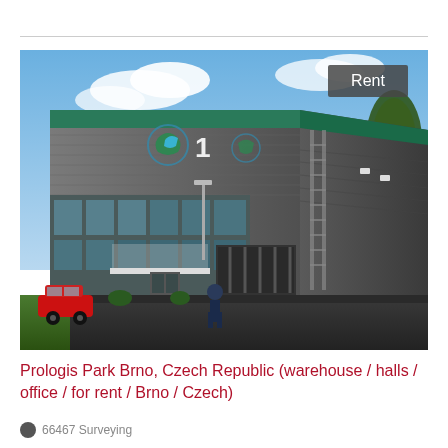[Figure (photo): Exterior rendering of a large industrial warehouse building (Prologis Park Brno) with grey and green facade panels, glass office section on the lower front, Prologis logos on the facade, blue sky with clouds, red car and person in foreground, and a 'Rent' badge overlaid in the top-right corner.]
Prologis Park Brno, Czech Republic (warehouse / halls / office / for rent / Brno / Czech)
66467 Surveying